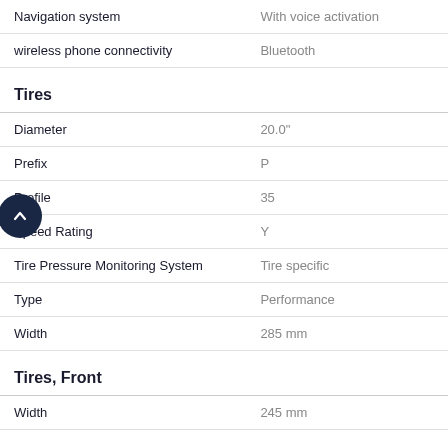| Feature | Value |
| --- | --- |
| Navigation system | With voice activation |
| wireless phone connectivity | Bluetooth |
Tires
| Feature | Value |
| --- | --- |
| Diameter | 20.0" |
| Prefix | P |
| Profile | 35 |
| Speed Rating | Y |
| Tire Pressure Monitoring System | Tire specific |
| Type | Performance |
| Width | 285 mm |
Tires, Front
| Feature | Value |
| --- | --- |
| Width | 245 mm |
Towing and Hauling
| Feature | Value |
| --- | --- |
| Cargo tie downs | Cargo tie downs |